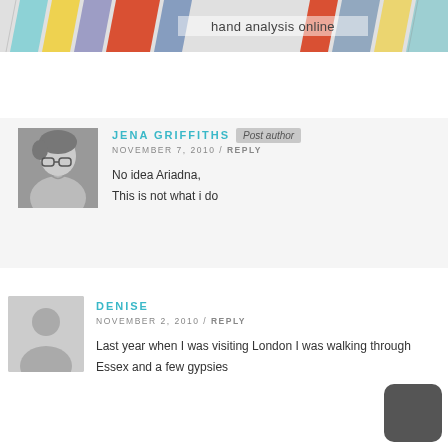[Figure (logo): Hand analysis online website banner with colored diagonal stripes in teal, yellow, purple, red, blue, and text 'hand analysis online' in the center]
[Figure (other): Hamburger menu icon (three horizontal lines)]
[Figure (photo): Black and white photo of Jena Griffiths, a person with short hair and glasses]
JENA GRIFFITHS
Post author
NOVEMBER 7, 2010 / REPLY
No idea Ariadna,
This is not what i do
[Figure (other): Generic user avatar placeholder (grey silhouette)]
DENISE
NOVEMBER 2, 2010 / REPLY
Last year when I was visiting London I was walking through Essex and a few gypsies
[Figure (other): Dark mode toggle button with crescent moon icon]